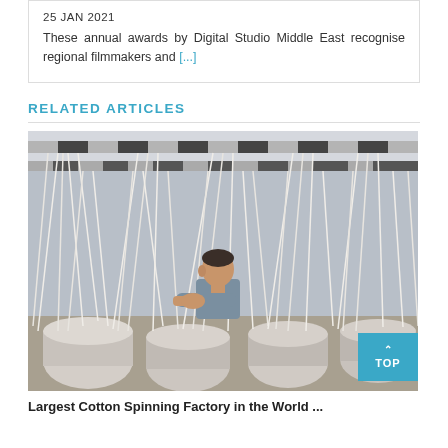25 JAN 2021
These annual awards by Digital Studio Middle East recognise regional filmmakers and [...]
RELATED ARTICLES
[Figure (photo): A man working in an industrial factory surrounded by white rope/thread strands hanging from overhead racks, with large cylindrical objects on the floor.]
Largest Cotton Spinning Factory in the World ...